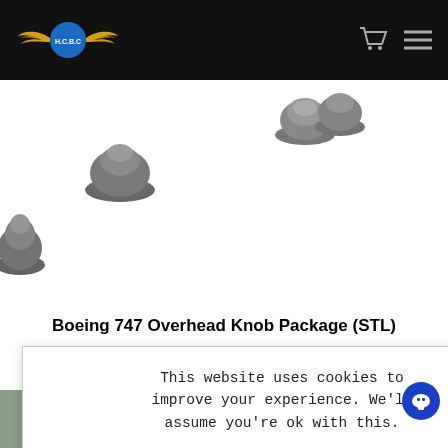H.C.B.C — Navigation bar with logo, cart icon, and menu icon
[Figure (photo): Multiple gray 3D-printed Boeing 747 overhead knobs photographed on white background]
Boeing 747 Overhead Knob Package (STL)
This website uses cookies to improve your experience. We'll assume you're ok with this.
Accept   Read More
[Figure (photo): Bottom strip showing partial product/cockpit image]